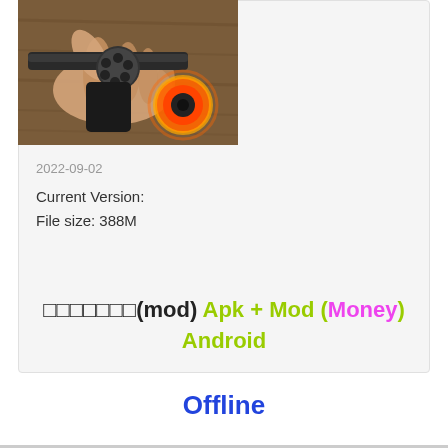[Figure (photo): A hand holding a revolver gun with a glowing orange and black eye/flame graphic overlay in the bottom right corner of the image]
2022-09-02
Current Version:
File size: 388M
□□□□□□□(mod) Apk + Mod (Money) Android
Offline